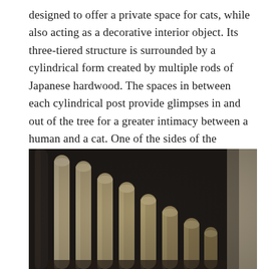designed to offer a private space for cats, while also acting as a decorative interior object. Its three-tiered structure is surrounded by a cylindrical form created by multiple rods of Japanese hardwood. The spaces in between each cylindrical post provide glimpses in and out of the tree for a greater intimacy between a human and a cat. One of the sides of the structure can also be opened up like a door, to provide easy access to the interior.
[Figure (photo): Close-up photograph of multiple vertical cylindrical wooden rods (Japanese hardwood) arranged in a row against a dark background, showing the detail of a cat tree structure. The rods are light beige/tan in color with rounded tops, photographed from a low angle.]